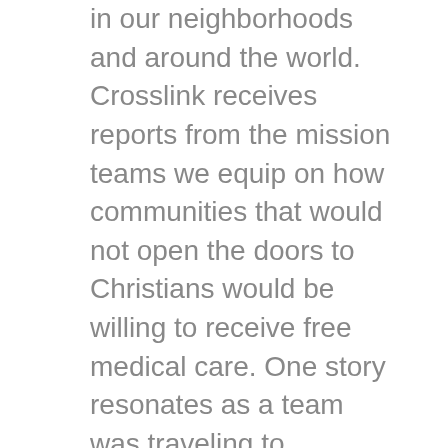in our neighborhoods and around the world. Crosslink receives reports from the mission teams we equip on how communities that would not open the doors to Christians would be willing to receive free medical care. One story resonates as a team was traveling to Tanzania. The missionary had been praying for several years and attempting to contact the leaders of the Muslim villages nearby. When the community learned of the medical mission team, they invited them to spend a day offering a clinic which is a great way to bring the love of Christ to others by serving and